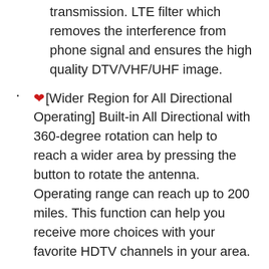transmission. LTE filter which removes the interference from phone signal and ensures the high quality DTV/VHF/UHF image.
❤[Wider Region for All Directional Operating] Built-in All Directional with 360-degree rotation can help to reach a wider area by pressing the button to rotate the antenna. Operating range can reach up to 200 miles. This function can help you receive more choices with your favorite HDTV channels in your area.
❤[Save Now and Gain More HDTV] No contracts! No monthly Bills! Save Today with Five Star Antenna. All in one Package Includes: Five Star Antenna, Installation Kit